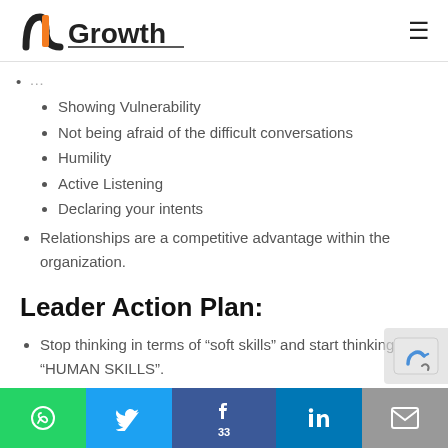NGrowth
Showing Vulnerability
Not being afraid of the difficult conversations
Humility
Active Listening
Declaring your intents
Relationships are a competitive advantage within the organization.
Leader Action Plan:
Stop thinking in terms of “soft skills” and start thinking “HUMAN SKILLS”.
Social share bar: WhatsApp, Twitter, Facebook (33), LinkedIn, Email